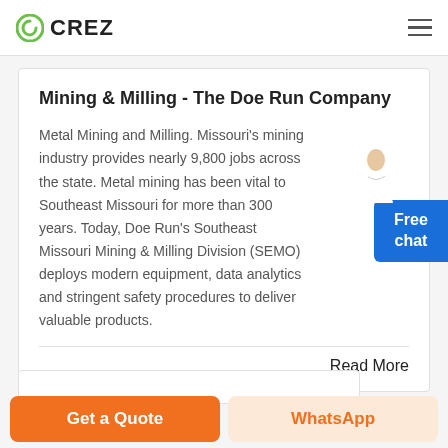CREZ
Mining & Milling - The Doe Run Company
Metal Mining and Milling. Missouri's mining industry provides nearly 9,800 jobs across the state. Metal mining has been vital to Southeast Missouri for more than 300 years. Today, Doe Run's Southeast Missouri Mining & Milling Division (SEMO) deploys modern equipment, data analytics and stringent safety procedures to deliver valuable products.
Read More
Get a Quote
WhatsApp